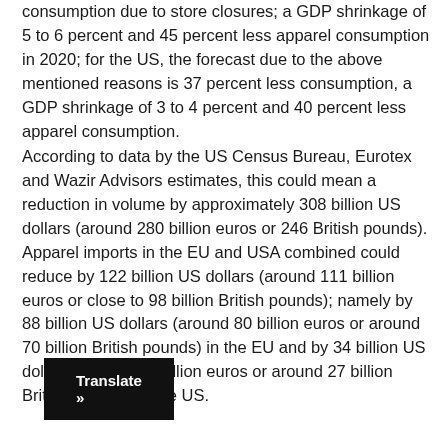consumption due to store closures; a GDP shrinkage of 5 to 6 percent and 45 percent less apparel consumption in 2020; for the US, the forecast due to the above mentioned reasons is 37 percent less consumption, a GDP shrinkage of 3 to 4 percent and 40 percent less apparel consumption.
According to data by the US Census Bureau, Eurotex and Wazir Advisors estimates, this could mean a reduction in volume by approximately 308 billion US dollars (around 280 billion euros or 246 British pounds). Apparel imports in the EU and USA combined could reduce by 122 billion US dollars (around 111 billion euros or close to 98 billion British pounds); namely by 88 billion US dollars (around 80 billion euros or around 70 billion British pounds) in the EU and by 34 billion US dollars (around 31 billion euros or around 27 billion British pounds) in the US.
Translate »